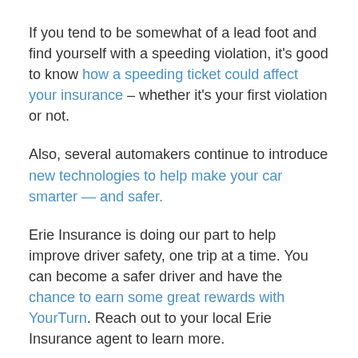If you tend to be somewhat of a lead foot and find yourself with a speeding violation, it's good to know how a speeding ticket could affect your insurance – whether it's your first violation or not.
Also, several automakers continue to introduce new technologies to help make your car smarter — and safer.
Erie Insurance is doing our part to help improve driver safety, one trip at a time. You can become a safer driver and have the chance to earn some great rewards with YourTurn. Reach out to your local Erie Insurance agent to learn more.